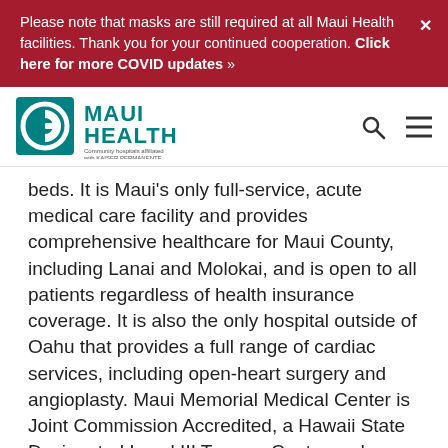Please note that masks are still required at all Maui Health facilities. Thank you for your continued cooperation. Click here for more COVID updates »
[Figure (logo): Maui Health logo — teal spiral G icon beside 'MAUI HEALTH' in teal text, with 'Community hospitals affiliated with KAISER PERMANENTE.' tagline below]
beds. It is Maui's only full-service, acute medical care facility and provides comprehensive healthcare for Maui County, including Lanai and Molokai, and is open to all patients regardless of health insurance coverage. It is also the only hospital outside of Oahu that provides a full range of cardiac services, including open-heart surgery and angioplasty. Maui Memorial Medical Center is Joint Commission Accredited, a Hawaii State Designated Level III Trauma Center and certified Primary Stroke Center, and rated 4-stars by Centers for Medicare & Medicaid Services (CMS) Centers Hospital Compare. It is located in Maui, home address 1700...